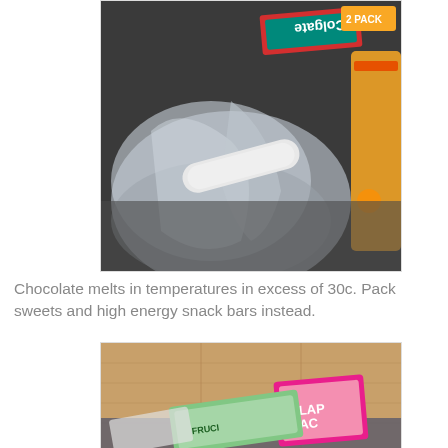[Figure (photo): Photo of a clear plastic zip-lock bag containing toiletry items including toothpaste (Colgate brand visible upside-down), a tube of cream/ointment, and other hygiene products. A yellow/orange packaged item is visible to the right. Items are on a dark surface.]
Chocolate melts in temperatures in excess of 30c. Pack sweets and high energy snack bars instead.
[Figure (photo): Photo of snack bars on a wooden floor surface. A pink and white FLAPJACK branded bar is visible along with other snack bars/packaging.]